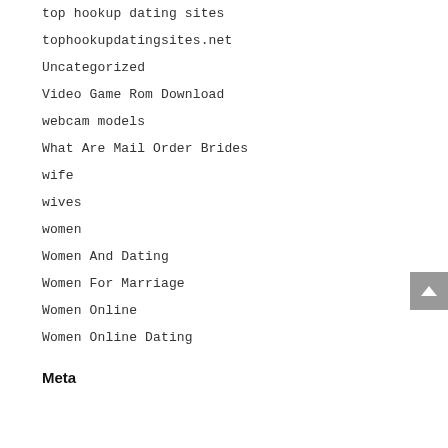top hookup dating sites
tophookupdatingsites.net
Uncategorized
Video Game Rom Download
webcam models
What Are Mail Order Brides
wife
wives
women
Women And Dating
Women For Marriage
Women Online
Women Online Dating
Meta